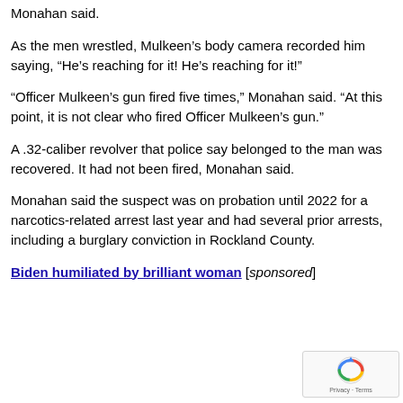Monahan said.
As the men wrestled, Mulkeen’s body camera recorded him saying, “He’s reaching for it! He’s reaching for it!”
“Officer Mulkeen’s gun fired five times,” Monahan said. “At this point, it is not clear who fired Officer Mulkeen’s gun.”
A .32-caliber revolver that police say belonged to the man was recovered. It had not been fired, Monahan said.
Monahan said the suspect was on probation until 2022 for a narcotics-related arrest last year and had several prior arrests, including a burglary conviction in Rockland County.
Biden humiliated by brilliant woman [sponsored]